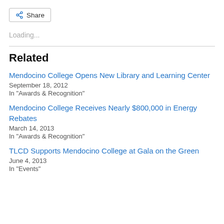[Figure (other): Share button with share icon]
Loading...
Related
Mendocino College Opens New Library and Learning Center
September 18, 2012
In "Awards & Recognition"
Mendocino College Receives Nearly $800,000 in Energy Rebates
March 14, 2013
In "Awards & Recognition"
TLCD Supports Mendocino College at Gala on the Green
June 4, 2013
In "Events"